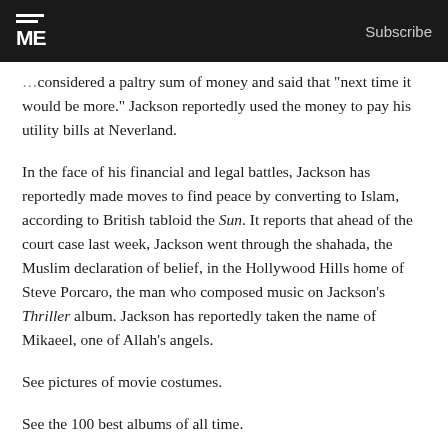TIME — Subscribe
considered a paltry sum of money and said that "next time it would be more." Jackson reportedly used the money to pay his utility bills at Neverland.
In the face of his financial and legal battles, Jackson has reportedly made moves to find peace by converting to Islam, according to British tabloid the Sun. It reports that ahead of the court case last week, Jackson went through the shahada, the Muslim declaration of belief, in the Hollywood Hills home of Steve Porcaro, the man who composed music on Jackson's Thriller album. Jackson has reportedly taken the name of Mikaeel, one of Allah's angels.
See pictures of movie costumes.
See the 100 best albums of all time.
Watch TIME's video "Appreciating Michael Jackson, the Musician."